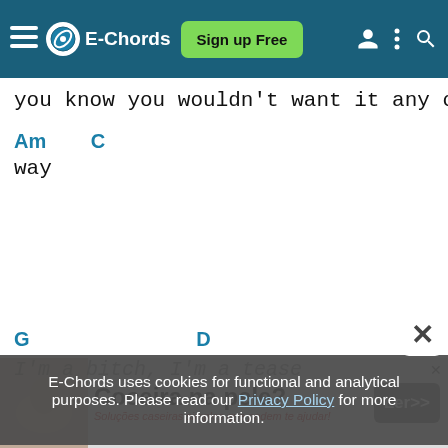E-Chords  Sign up Free
you know you wouldn't want it any other
Am        C
way
G                              D
I'm a bitch, I'm a tease
Am
I'm everything you ever
b
When you hurt, when you suffer
E-Chords uses cookies for functional and analytical purposes. Please read our Privacy Policy for more information.
[Figure (screenshot): Ad banner: Coceira na pele? Ler>> with Soluções caseiras simples que podem te ajudar!]